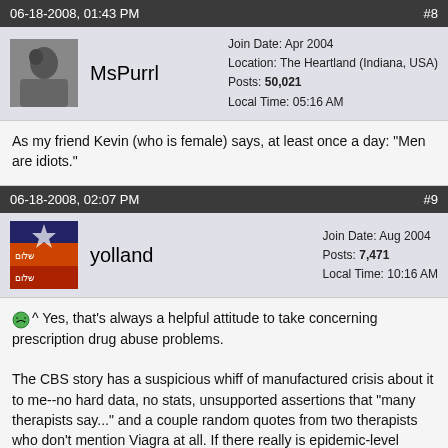06-18-2008, 01:43 PM  #8
MsPurrl  Join Date: Apr 2004  Location: The Heartland (Indiana, USA)  Posts: 50,021  Local Time: 05:16 AM
As my friend Kevin (who is female) says, at least once a day: "Men are idiots."
06-18-2008, 02:07 PM  #9
yolland  Join Date: Aug 2004  Posts: 7,471  Local Time: 10:16 AM
^ Yes, that's always a helpful attitude to take concerning prescription drug abuse problems.

The CBS story has a suspicious whiff of manufactured crisis about it to me--no hard data, no stats, unsupported assertions that "many therapists say..." and a couple random quotes from two therapists who don't mention Viagra at all. If there really is epidemic-level misuse of Viagra by 15 to 25 year olds...